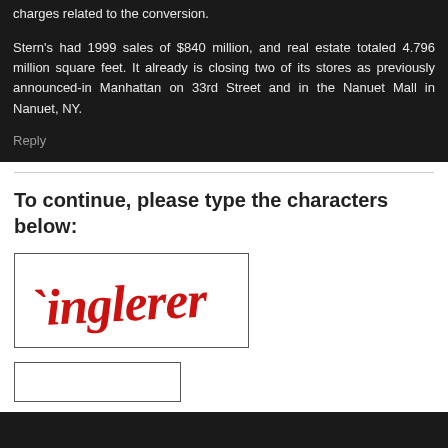charges related to the conversion.
Stern's had 1999 sales of $840 million, and real estate totaled 4.796 million square feet. It already is closing two of its stores as previously announced-in Manhattan on 33rd Street and in the Nanuet Mall in Nanuet, NY.
Reply
To continue, please type the characters below:
[Figure (other): CAPTCHA image showing the text 'inglerer' in red stylized handwritten font on white background, inside a bordered box]
[text input field]